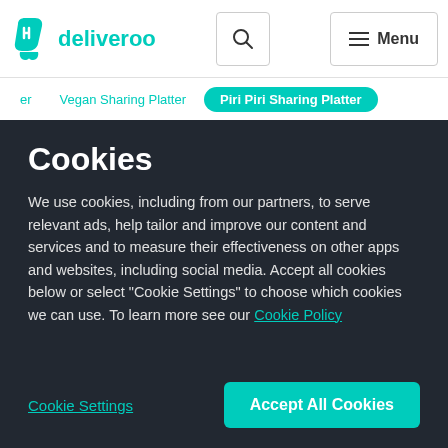[Figure (logo): Deliveroo logo with kangaroo icon and 'deliveroo' text in teal]
deliveroo [search] [Menu]
er   Vegan Sharing Platter   Piri Piri Sharing Platter
Cookies
We use cookies, including from our partners, to serve relevant ads, help tailor and improve our content and services and to measure their effectiveness on other apps and websites, including social media. Accept all cookies below or select "Cookie Settings" to choose which cookies we can use. To learn more see our Cookie Policy
Cookie Settings   Accept All Cookies